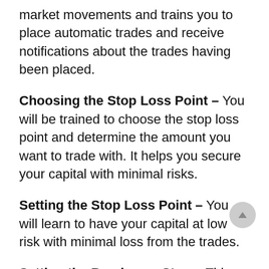market movements and trains you to place automatic trades and receive notifications about the trades having been placed.
Choosing the Stop Loss Point – You will be trained to choose the stop loss point and determine the amount you want to trade with. It helps you secure your capital with minimal risks.
Setting the Stop Loss Point – You will learn to have your capital at low risk with minimal loss from the trades.
Setting the Breakeven Stop – This step